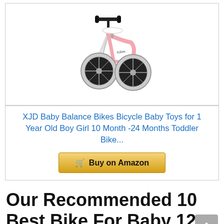[Figure (photo): Pink XJD baby balance bike with black wheels and white seat, viewed from the side]
XJD Baby Balance Bikes Bicycle Baby Toys for 1 Year Old Boy Girl 10 Month -24 Months Toddler Bike...
Buy on Amazon
Our Recommended 10 Best Bike For Baby 12 Months Reviews 2022